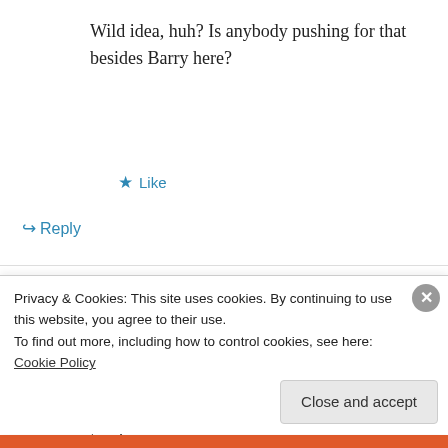Wild idea, huh? Is anybody pushing for that besides Barry here?
★ Like
↪ Reply
John Rogers on 9 April 2011 at 9:04 AM
I went to Navy nuclear prototype training at INEL, eastern ID, in the 80's when EBR-2 still powered the site. Took multiple tours, even tried
Privacy & Cookies: This site uses cookies. By continuing to use this website, you agree to their use.
To find out more, including how to control cookies, see here: Cookie Policy
Close and accept